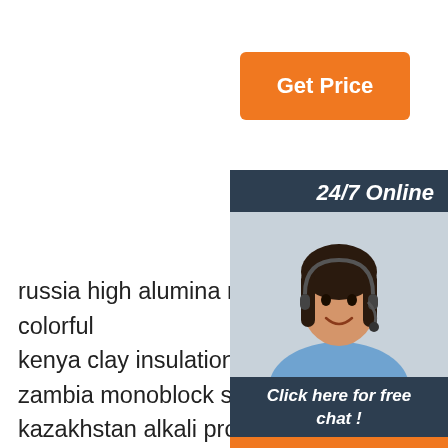[Figure (other): Orange 'Get Price' button]
[Figure (other): 24/7 Online sidebar panel with customer service photo, 'Click here for free chat!' text, and orange QUOTATION button]
russia high alumina ramming mass mag... colorful
kenya clay insulation bricks magnificent
zambia monoblock stopper beautiful app...
kazakhstan alkali proof castable quality
chile high zirconium brick rest assured
colombia permeability bricks safe reliab...
uruguay mullite refractory bricks luster
vietnam corundum refractory castable c... guarantee
mongolia magnesia zirconium brick factory direct sales
mexico zirconium mullite bricks complete specifications
singapore corundum refractory bricks luster
egypt zirconium bricks series magnificent colorful
[Figure (other): Orange TOP badge with dots above]